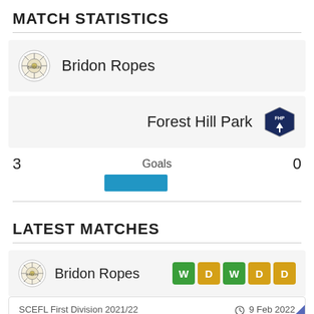MATCH STATISTICS
Bridon Ropes
Forest Hill Park
3   Goals   0
LATEST MATCHES
Bridon Ropes W D W D D
SCEFL First Division 2021/22   9 Feb 2022 - 7:45 pm